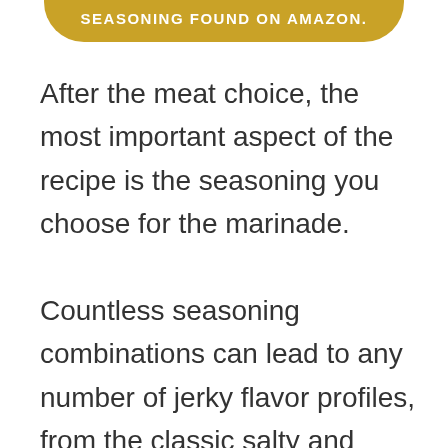[Figure (other): Gold/yellow rounded banner at top with white uppercase text: SEASONING FOUND ON AMAZON.]
After the meat choice, the most important aspect of the recipe is the seasoning you choose for the marinade.

Countless seasoning combinations can lead to any number of jerky flavor profiles, from the classic salty and